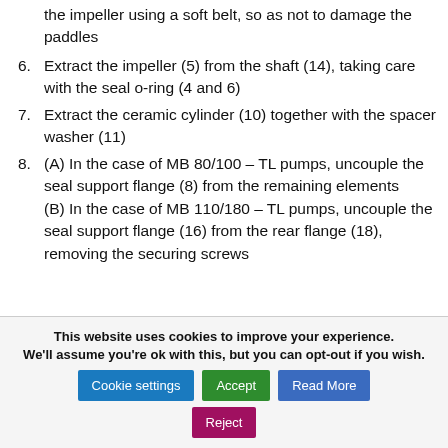the impeller using a soft belt, so as not to damage the paddles
6. Extract the impeller (5) from the shaft (14), taking care with the seal o-ring (4 and 6)
7. Extract the ceramic cylinder (10) together with the spacer washer (11)
8. (A) In the case of MB 80/100 – TL pumps, uncouple the seal support flange (8) from the remaining elements (B) In the case of MB 110/180 – TL pumps, uncouple the seal support flange (16) from the rear flange (18), removing the securing screws
This website uses cookies to improve your experience. We'll assume you're ok with this, but you can opt-out if you wish.
Cookie settings | Accept | Read More | Reject